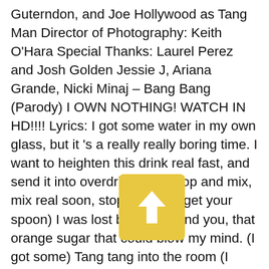Guterndon, and Joe Hollywood as Tang Man Director of Photography: Keith O'Hara Special Thanks: Laurel Perez and Josh Golden Jessie J, Ariana Grande, Nicki Minaj – Bang Bang (Parody) I OWN NOTHING! WATCH IN HD!!!! Lyrics: I got some water in my own glass, but it 's a really really boring time. I want to heighten this drink real fast, and send it into overdrive (oh) (stop and mix, mix real soon, stop, hold up, get your spoon) I was lost before I found you, that orange sugar that could blow my mind. (I got some) Tang tang into the room (I know you want tang all over you (I 'll let you have it) Delicio mix you can make real fast (ah) Not just a drink, it 's a kick in your glass! Tang tang, there goes your heart (We love it here) Tang back seat of my car (Drink it
[Figure (other): Yellow/golden square button with an upward-pointing arrow icon overlaid on the text]